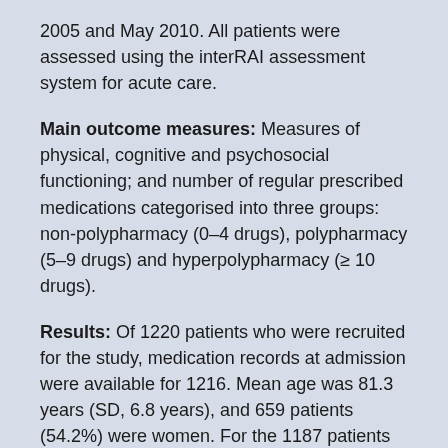2005 and May 2010. All patients were assessed using the interRAI assessment system for acute care.
Main outcome measures: Measures of physical, cognitive and psychosocial functioning; and number of regular prescribed medications categorised into three groups: non-polypharmacy (0–4 drugs), polypharmacy (5–9 drugs) and hyperpolypharmacy (≥ 10 drugs).
Results: Of 1220 patients who were recruited for the study, medication records at admission were available for 1216. Mean age was 81.3 years (SD, 6.8 years), and 659 patients (54.2%) were women. For the 1187 patients with complete medication records on admission and discharge, there was a small but statistically significant increase in mean number of prescribed medications between admission and